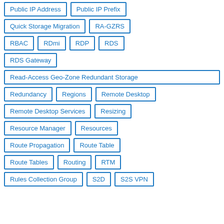Public IP Address
Public IP Prefix
Quick Storage Migration
RA-GZRS
RBAC
RDmi
RDP
RDS
RDS Gateway
Read-Access Geo-Zone Redundant Storage
Redundancy
Regions
Remote Desktop
Remote Desktop Services
Resizing
Resource Manager
Resources
Route Propagation
Route Table
Route Tables
Routing
RTM
Rules Collection Group
S2D
S2S VPN